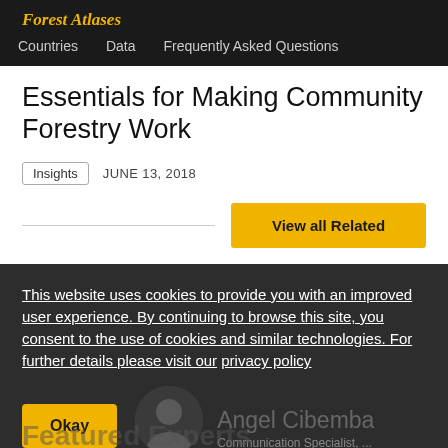Forest Atlases — Countries | Data | Frequently Asked Questions
Essentials for Making Community Forestry Work
Insights   JUNE 13, 2018
View all Related
This website uses cookies to provide you with an improved user experience. By continuing to browse this site, you consent to the use of cookies and similar technologies. For further details please visit our privacy policy
Okay
Featured Experts
Angel Cibemba
Communication Specialist, ...